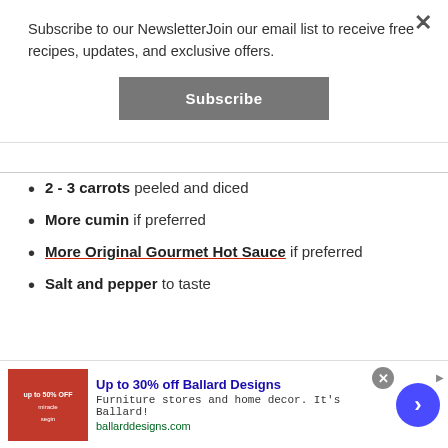Subscribe to our NewsletterJoin our email list to receive free recipes, updates, and exclusive offers.
Subscribe
2 - 3 carrots peeled and diced
More cumin if preferred
More Original Gourmet Hot Sauce if preferred
Salt and pepper to taste
[Figure (infographic): McCormick spice ad: 'IT'S GONNA BE GREAT' with salt shaker image, 'START THE PARTY WITH EASY FLAVOR', SHOP NOW button, Safeway logo]
[Figure (infographic): Get Ingredients purple button]
Up to 30% off Ballard Designs. Furniture stores and home decor. It's Ballard! ballarddesigns.com